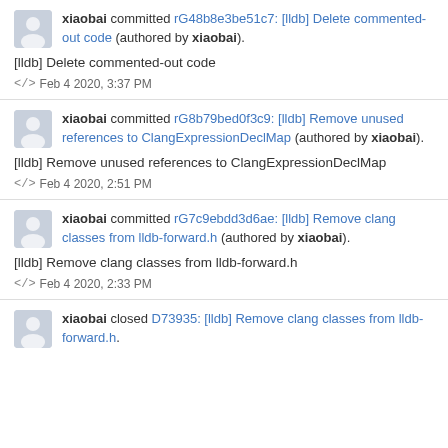xiaobai committed rG48b8e3be51c7: [lldb] Delete commented-out code (authored by xiaobai).
[lldb] Delete commented-out code
</> Feb 4 2020, 3:37 PM
xiaobai committed rG8b79bed0f3c9: [lldb] Remove unused references to ClangExpressionDeclMap (authored by xiaobai).
[lldb] Remove unused references to ClangExpressionDeclMap
</> Feb 4 2020, 2:51 PM
xiaobai committed rG7c9ebdd3d6ae: [lldb] Remove clang classes from lldb-forward.h (authored by xiaobai).
[lldb] Remove clang classes from lldb-forward.h
</> Feb 4 2020, 2:33 PM
xiaobai closed D73935: [lldb] Remove clang classes from lldb-forward.h.